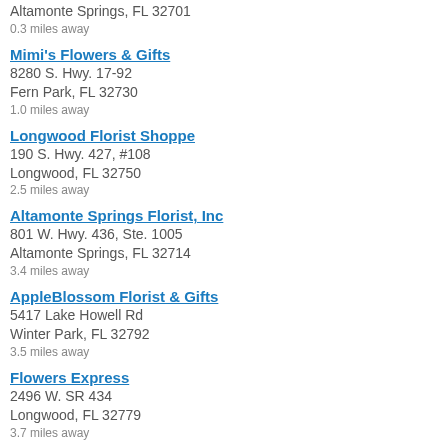Altamonte Springs, FL 32701
0.3 miles away
Mimi's Flowers & Gifts
8280 S. Hwy. 17-92
Fern Park, FL 32730
1.0 miles away
Longwood Florist Shoppe
190 S. Hwy. 427, #108
Longwood, FL 32750
2.5 miles away
Altamonte Springs Florist, Inc
801 W. Hwy. 436, Ste. 1005
Altamonte Springs, FL 32714
3.4 miles away
AppleBlossom Florist & Gifts
5417 Lake Howell Rd
Winter Park, FL 32792
3.5 miles away
Flowers Express
2496 W. SR 434
Longwood, FL 32779
3.7 miles away